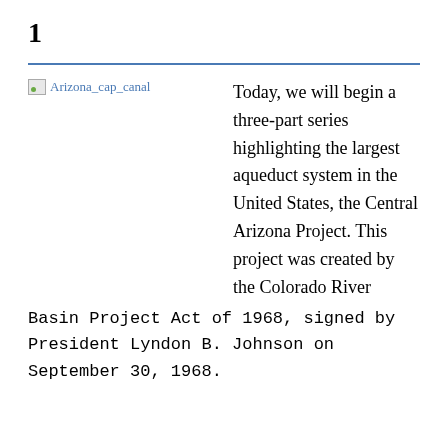1
[Figure (illustration): Broken image placeholder labeled Arizona_cap_canal]
Today, we will begin a three-part series highlighting the largest aqueduct system in the United States, the Central Arizona Project. This project was created by the Colorado River Basin Project Act of 1968, signed by President Lyndon B. Johnson on September 30, 1968.